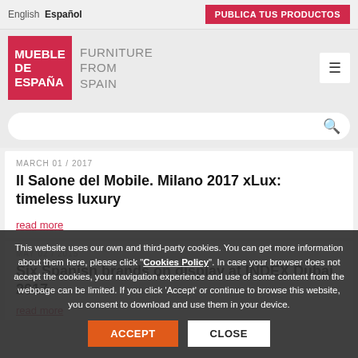English  Español    PUBLICA TUS PRODUCTOS
[Figure (logo): Mueble de España - Furniture From Spain logo with red square and grey text, plus hamburger menu icon]
[Figure (screenshot): Search bar with magnifying glass icon]
MARCH 01 / 2017
Il Salone del Mobile. Milano 2017 xLux: timeless luxury
read more
MAY 02 / 2015
Six Spanish brands on display at INDEX Dubai 2017
read more
This website uses our own and third-party cookies. You can get more information about them here, please click "Cookies Policy". In case your browser does not accept the cookies, your navigation experience and use of some content from the webpage can be limited. If you click 'Accept' or continue to browse this website, you consent to download and use them in your device.
ACCEPT   CLOSE